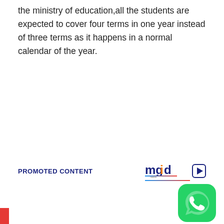the ministry of education,all the students are expected to cover four terms in one year instead of three terms as it happens in a normal calendar of the year.
PROMOTED CONTENT
[Figure (logo): mgid logo with play button icon]
[Figure (logo): WhatsApp app icon - green circle with white phone handset]